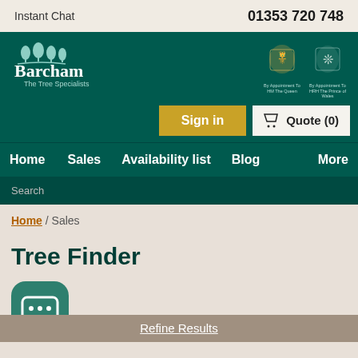Instant Chat    01353 720 748
[Figure (logo): Barcham The Tree Specialists logo with tree icons and royal warrant badges (By Appointment To HM The Queen, By Appointment To HRH The Prince of Wales)]
Sign in
Quote (0)
Home  Sales  Availability list  Blog  More
Search
Home / Sales
Tree Finder
[Figure (illustration): Green chat bubble icon with ellipsis (live chat widget)]
Refine Results